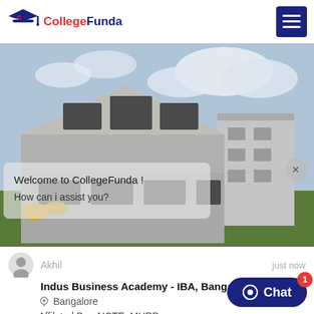CollegeFunda
[Figure (photo): Photograph of Indus Business Academy - IBA, Bangalore building exterior with modern architecture, cloudy sky, and green trees. Chat popup overlay: 'Welcome to CollegeFunda! How can i assist you?']
Akhil    just now
Indus Business Academy - IBA, Bangalore
Bangalore
Affilated By : AICTE, MHRD